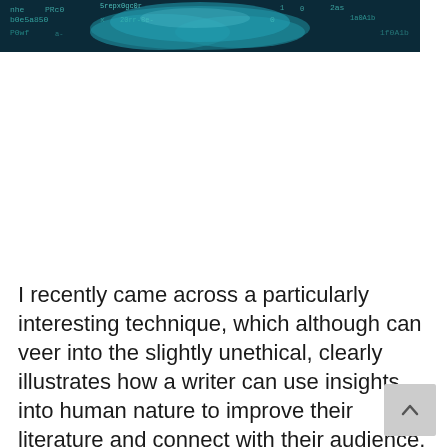[Figure (photo): Dark teal/blue banner image showing a cloud shape with binary/digital code and numbers overlaid, suggesting a technology or data cloud concept.]
I recently came across a particularly interesting technique, which although can veer into the slightly unethical, clearly illustrates how a writer can use insights into human nature to improve their literature and connect with their audience.